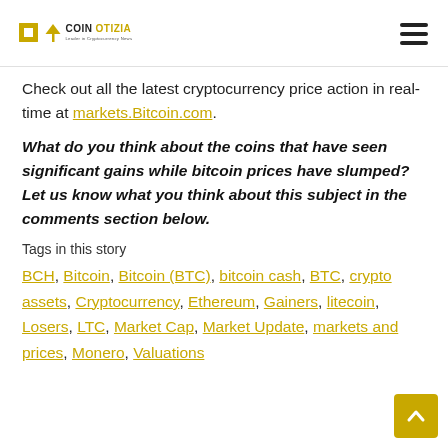COINOTIZIA – Leader in Cryptocurrency News
Check out all the latest cryptocurrency price action in real-time at markets.Bitcoin.com.
What do you think about the coins that have seen significant gains while bitcoin prices have slumped? Let us know what you think about this subject in the comments section below.
Tags in this story
BCH, Bitcoin, Bitcoin (BTC), bitcoin cash, BTC, crypto assets, Cryptocurrency, Ethereum, Gainers, litecoin, Losers, LTC, Market Cap, Market Update, markets and prices, Monero, Valuations